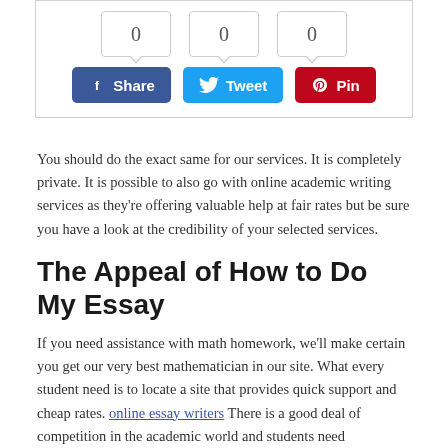[Figure (screenshot): Social share widget showing three count boxes each displaying 0, with Facebook Share, Twitter Tweet, and Pinterest Pin buttons below.]
You should do the exact same for our services. It is completely private. It is possible to also go with online academic writing services as they're offering valuable help at fair rates but be sure you have a look at the credibility of your selected services.
The Appeal of How to Do My Essay
If you need assistance with math homework, we'll make certain you get our very best mathematician in our site. What every student need is to locate a site that provides quick support and cheap rates. online essay writers There is a good deal of competition in the academic world and students need professional homework writing services as a way to fulfill their academic needs.